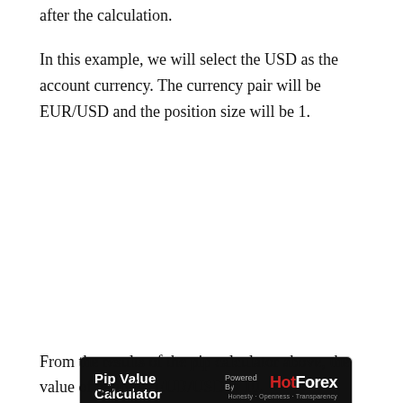after the calculation.
In this example, we will select the USD as the account currency. The currency pair will be EUR/USD and the position size will be 1.
[Figure (screenshot): Pip Value Calculator widget powered by HotForex showing Account Currency: USD, Currency pair: EUR/USD, Position size: 1, with Calculate button and result Price of pip: 10.00]
From the results of the pip calculator above, the value of a pip for EUR/USD is 10.